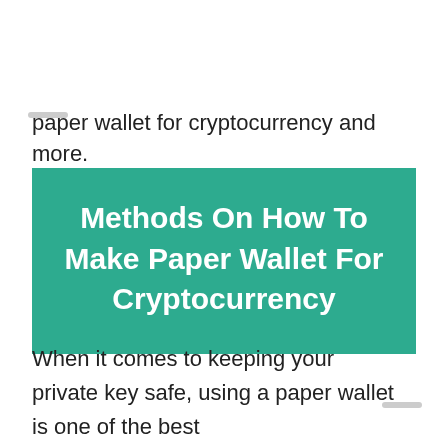paper wallet for cryptocurrency and more.
Methods On How To Make Paper Wallet For Cryptocurrency
When it comes to keeping your private key safe, using a paper wallet is one of the best